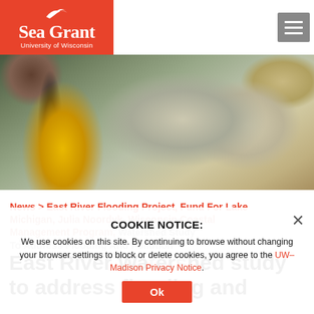[Figure (logo): Sea Grant University of Wisconsin logo — white bird silhouette above 'Sea Grant' in bold white text, 'University of Wisconsin' below, on red/orange background]
[Figure (photo): Hero photograph: a yellow field notebook and an open compass resting on a topographic map, surrounded by autumn leaves on rocky ground]
News > East River Flooding Project, Fund For Lake Michigan, Julia Noordyk, Wisconsin Coastal Management Program, Watershed Study To Address Flooding And Pollution
East River Watershed study to address flooding and pollution
COOKIE NOTICE:
We use cookies on this site. By continuing to browse without changing your browser settings to block or delete cookies, you agree to the UW–Madison Privacy Notice.